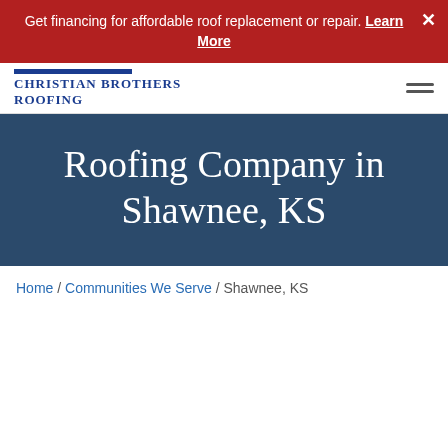Get financing for affordable roof replacement or repair. Learn More
[Figure (logo): Christian Brothers Roofing logo with blue bar above text]
Roofing Company in Shawnee, KS
Home / Communities We Serve / Shawnee, KS